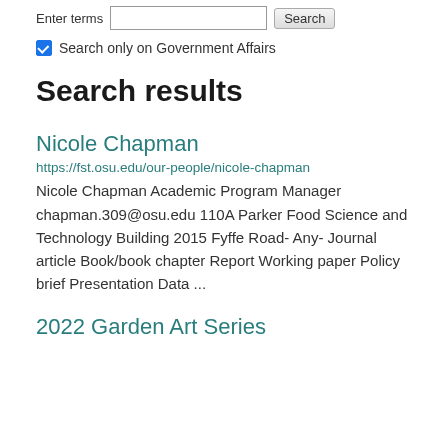Enter terms [input] Search
Search only on Government Affairs
Search results
Nicole Chapman
https://fst.osu.edu/our-people/nicole-chapman
Nicole Chapman Academic Program Manager chapman.309@osu.edu 110A Parker Food Science and Technology Building 2015 Fyffe Road- Any- Journal article Book/book chapter Report Working paper Policy brief Presentation Data ...
2022 Garden Art Series